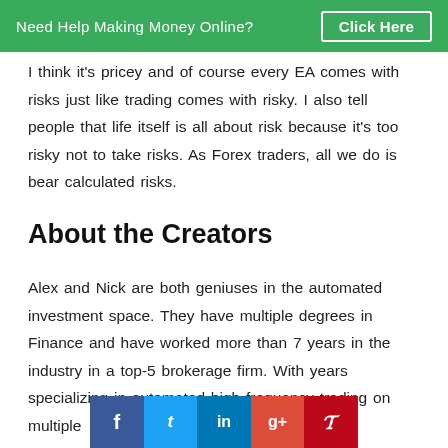Need Help Making Money Online? Click Here
I think it's pricey and of course every EA comes with risks just like trading comes with risky. I also tell people that life itself is all about risk because it's too risky not to take risks. As Forex traders, all we do is bear calculated risks.
About the Creators
Alex and Nick are both geniuses in the automated investment space. They have multiple degrees in Finance and have worked more than 7 years in the industry in a top-5 brokerage firm. With years specializing in automated high frequency trading on multiple
[Figure (infographic): Social media share buttons: Facebook (blue), Twitter (light blue), LinkedIn (blue), Google+ (red), Pinterest (dark red)]